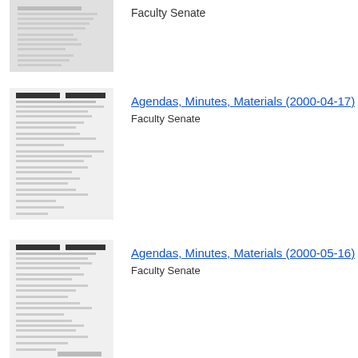[Figure (screenshot): Thumbnail of Faculty Senate document (partial, top of page)]
Faculty Senate
[Figure (screenshot): Thumbnail of Faculty Senate Agendas, Minutes, Materials (2000-04-17) document]
Agendas, Minutes, Materials (2000-04-17)
Faculty Senate
[Figure (screenshot): Thumbnail of Faculty Senate Agendas, Minutes, Materials (2000-05-16) document]
Agendas, Minutes, Materials (2000-05-16)
Faculty Senate
[Figure (screenshot): Thumbnail of Faculty Senate Agendas, Minutes, Materials (2000-10-23) document]
Agendas, Minutes, Materials (2000-10-23)
Faculty Senate
Agendas, Minutes, Materials (2000-11-20)